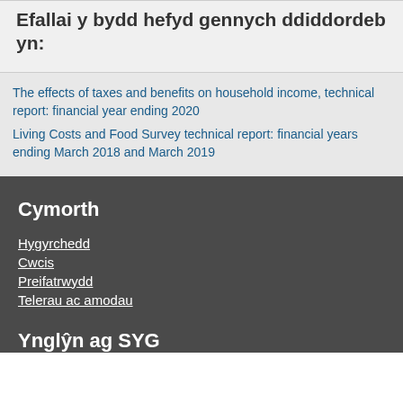Efallai y bydd hefyd gennych ddiddordeb yn:
The effects of taxes and benefits on household income, technical report: financial year ending 2020
Living Costs and Food Survey technical report: financial years ending March 2018 and March 2019
Cymorth
Hygyrchedd
Cwcis
Preifatrwydd
Telerau ac amodau
Ynglŷn ag SYG